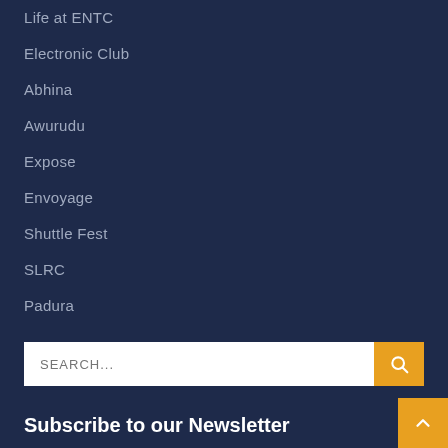Life at ENTC
Electronic Club
Abhina
Awurudu
Expose
Envoyage
Shuttle Fest
SLRC
Padura
SEARCH...
Subscribe to our Newsletter
Name